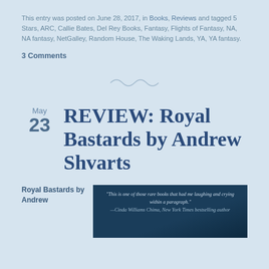This entry was posted on June 28, 2017, in Books, Reviews and tagged 5 Stars, ARC, Callie Bates, Del Rey Books, Fantasy, Flights of Fantasy, NA, NA fantasy, NetGalley, Random House, The Waking Lands, YA, YA fantasy.
3 Comments
[Figure (illustration): Decorative tilde/swirl divider line in light blue-gray]
May 23
REVIEW: Royal Bastards by Andrew Shvarts
Royal Bastards by Andrew
[Figure (photo): Book cover of Royal Bastards showing a dark teal/blue background with a quote: 'This is one of those rare books that had me laughing and crying within a paragraph.' —Cinda Williams Chima, New York Times bestselling author]